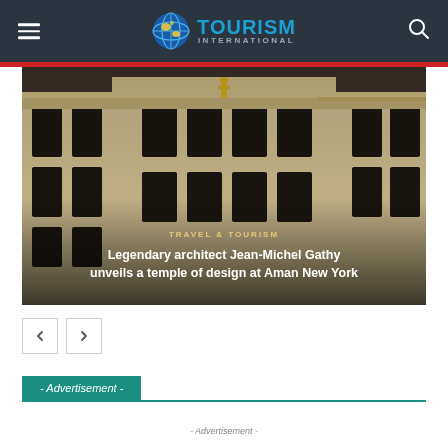TOURISM INTERNATIONAL
[Figure (photo): Exterior of a classical beaux-arts building facade with golden statue, dark warm-toned photograph]
TRAVEL & TOURISM
Legendary architect Jean-Michel Gathy unveils a temple of design at Aman New York
- Advertisement -
- Advertisement -